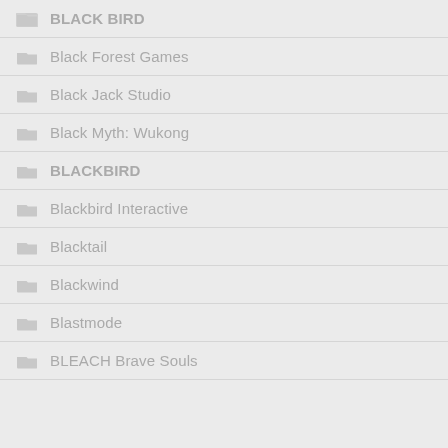BLACK BIRD
Black Forest Games
Black Jack Studio
Black Myth: Wukong
BLACKBIRD
Blackbird Interactive
Blacktail
Blackwind
Blastmode
BLEACH Brave Souls